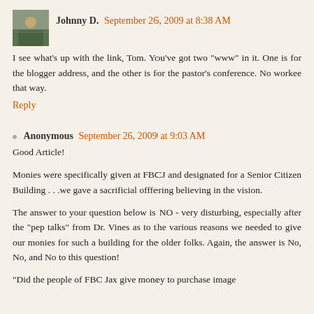Johnny D. September 26, 2009 at 8:38 AM
I see what's up with the link, Tom. You've got two "www" in it. One is for the blogger address, and the other is for the pastor's conference. No workee that way.
Reply
Anonymous September 26, 2009 at 9:03 AM
Good Article!
Monies were specifically given at FBCJ and designated for a Senior Citizen Building . . .we gave a sacrificial offfering believing in the vision.
The answer to your question below is NO - very disturbing, especially after the "pep talks" from Dr. Vines as to the various reasons we needed to give our monies for such a building for the older folks. Again, the answer is No, No, and No to this question!
"Did the people of FBC Jax give money to purchase image